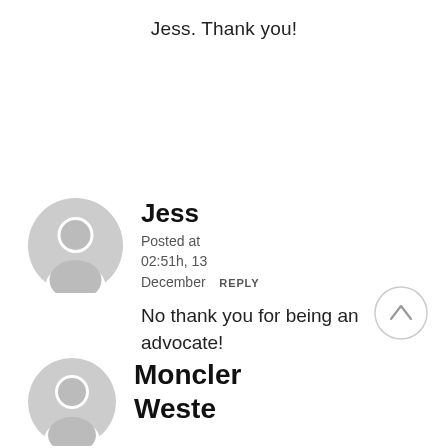Jess. Thank you!
Jess
Posted at 02:51h, 13 December REPLY
No thank you for being an advocate!
Moncler Weste